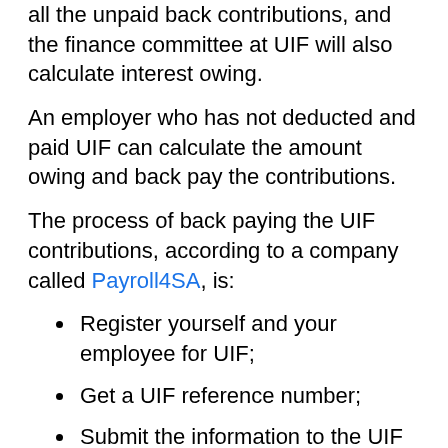all the unpaid back contributions, and the finance committee at UIF will also calculate interest owing.
An employer who has not deducted and paid UIF can calculate the amount owing and back pay the contributions.
The process of back paying the UIF contributions, according to a company called Payroll4SA, is:
Register yourself and your employee for UIF;
Get a UIF reference number;
Submit the information to the UIF for the periods you did not submit or pay UIF (only one form per year is needed for backlog periods; thereafter, you need to submit a form every month).
Only after you have submitted the salary information for the backlog periods, can the finance committee...